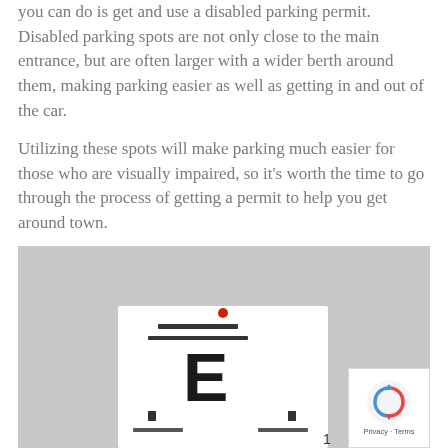you can do is get and use a disabled parking permit. Disabled parking spots are not only close to the main entrance, but are often larger with a wider berth around them, making parking easier as well as getting in and out of the car.
Utilizing these spots will make parking much easier for those who are visually impaired, so it's worth the time to go through the process of getting a permit to help you get around town.
[Figure (photo): A photo on a gray background showing an eye chart (Snellen-style) with a large letter E visible and other smaller letters/symbols. There is a small red dot/element near the top center of the chart. A reCAPTCHA privacy badge appears in the bottom-right corner of the image.]